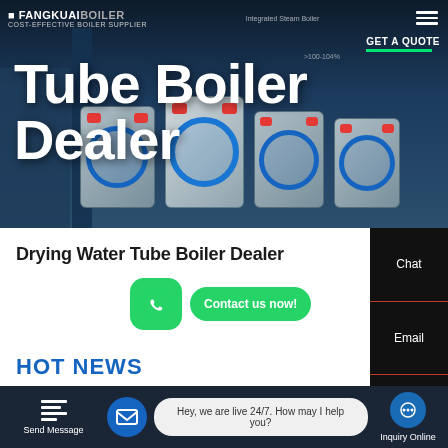[Figure (screenshot): Hero banner of a boiler supplier website showing industrial water tube boilers in a dark blue background]
Tube Boiler Dealer
COST-EFFECTIVE BOILER SUPPLIER
GET A QUOTE
Drying Water Tube Boiler Dealer
Contact us now!
HOT NEWS
Chat
Email
Contact
Send Message
Hey, we are live 24/7. How may I help you?
Inquiry Online